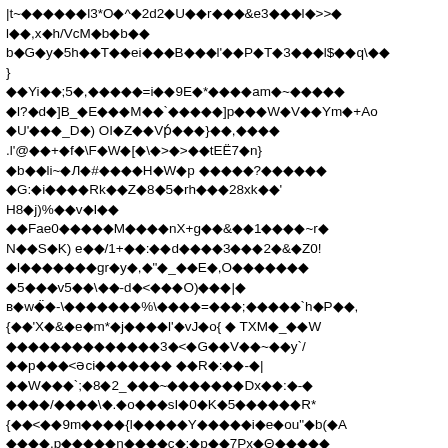|t~�����█l3*O�^�2d2�U��r���&e3���l�>>�
l��,x�h/VcM�b�b��
b�G�y�5h��T██ei���B��█l'��P█T�3���l$█�q\��
}
��Yi9�;5�,�����=i��9E�*����am�~�����
█l?�d�]B_�E�██M��`��φ���]p���W█V�█Ym�+Ao
�U'���_D�) OI█Z��Vṕ���}��,����
.l'@��+�f�\F�W�[�\�>�>��tEË7�n}
�b�█li~�Л█#����H�W�p �����?������
�G:�i���█Rk��Z₈8�5�rh██�28xk��'
H8�j)%██v�I�█
�█Fae0���█�M����nX+g��&��1����~r�
N█�S�K) e��/1+��:��d�█�█3█�█2�&█Z0!
�l�██����gr�y�,�"�_��E�,O������█
�5█��v5��\��-d�<█�█O)���|█
в�w���̈-\�������%\����=���;�����`h�P��,
{█�'X�&�e█m*�j���█l'�vJ�o{ � TXM�_�█W
���█��█���█��₈3�<�G█�V��~��y`/
�█p��█<ǝci������� █�R�:��-█|
��W���`;8�2_███~�������Dx█�:�-�
����/����\█.█o█�█sI�0�K�5���███R*
{██<��9m����{l�██�█�Y�███�█i�e█ou"�b(�A
����.p�����n����c�:�p��7Px�Θ��█��
�█��G�xq]Hs:� � X�s₈3���i� <�ρ��█�IM�8/